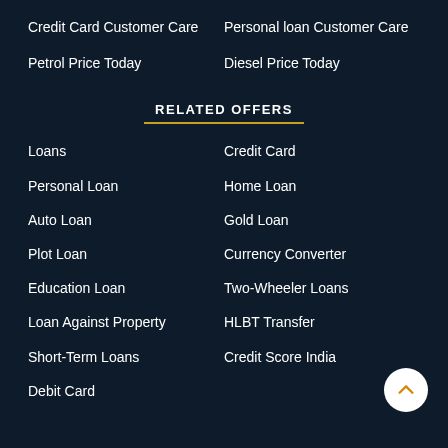Credit Card Customer Care
Personal loan Customer Care
Petrol Price Today
Diesel Price Today
RELATED OFFERS
Loans
Credit Card
Personal Loan
Home Loan
Auto Loan
Gold Loan
Plot Loan
Currency Converter
Education Loan
Two-Wheeler Loans
Loan Against Property
HLBT Transfer
Short-Term Loans
Credit Score India
Debit Card